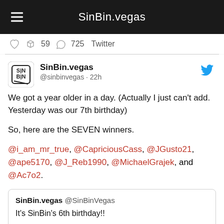SinBin.vegas
59  725  Twitter
[Figure (screenshot): Tweet from SinBin.vegas account (@sinbinvegas) posted 22h ago. Text: We got a year older in a day. (Actually I just can't add. Yesterday was our 7th birthday)

So, here are the SEVEN winners.

@i_am_mr_true, @CapriciousCass, @JGusto21, @ape5170, @J_Reb1990, @MichaelGrajek, and @Ac7o2.

Quoted tweet: SinBin.vegas @SinBinVegas: It's SinBin's 6th birthday!! Let's give away 6 SinBin stickers to some random people who RT this to help us]